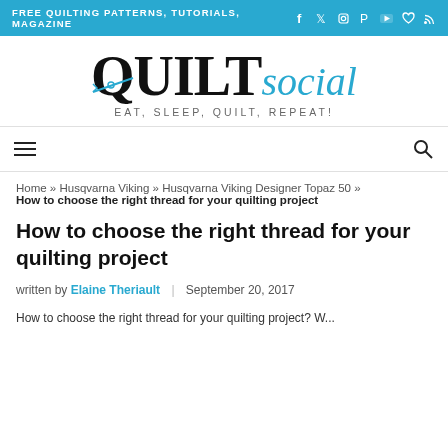FREE QUILTING PATTERNS, TUTORIALS, MAGAZINE
[Figure (logo): QUILTsocial logo with scissors icon and tagline EAT, SLEEP, QUILT, REPEAT!]
Home » Husqvarna Viking » Husqvarna Viking Designer Topaz 50 » How to choose the right thread for your quilting project
How to choose the right thread for your quilting project
written by Elaine Theriault | September 20, 2017
How to choose the right thread for your quilting project? W...